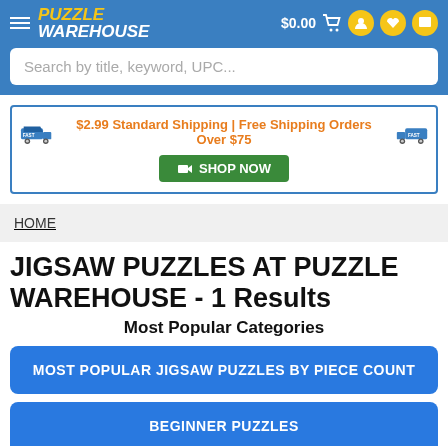PUZZLE WAREHOUSE | $0.00
Search by title, keyword, UPC...
$2.99 Standard Shipping | Free Shipping Orders Over $75  SHOP NOW
HOME
JIGSAW PUZZLES AT PUZZLE WAREHOUSE - 1 Results
Most Popular Categories
MOST POPULAR JIGSAW PUZZLES BY PIECE COUNT
BEGINNER PUZZLES